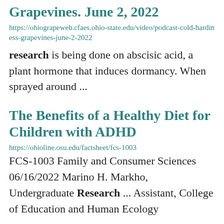Grapevines. June 2, 2022
https://ohiograpeweb.cfaes.ohio-state.edu/video/podcast-cold-hardiness-grapevines-june-2-2022
research is being done on abscisic acid, a plant hormone that induces dormancy. When sprayed around ...
The Benefits of a Healthy Diet for Children with ADHD
https://ohioline.osu.edu/factsheet/fcs-1003
FCS-1003 Family and Consumer Sciences 06/16/2022 Marino H. Markho, Undergraduate Research ... Assistant, College of Education and Human Ecology